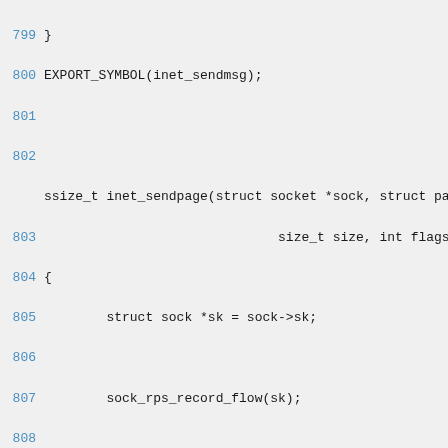[Figure (screenshot): Source code listing showing lines 799-819 of Linux kernel inet socket code, including inet_sendpage function definition with struct sock operations, sock_rps_record_flow, autobind check, and sendpage dispatch logic.]